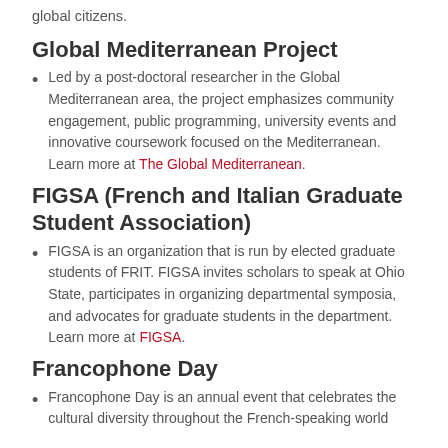global citizens.
Global Mediterranean Project
Led by a post-doctoral researcher in the Global Mediterranean area, the project emphasizes community engagement, public programming, university events and innovative coursework focused on the Mediterranean. Learn more at The Global Mediterranean.
FIGSA (French and Italian Graduate Student Association)
FIGSA is an organization that is run by elected graduate students of FRIT. FIGSA invites scholars to speak at Ohio State, participates in organizing departmental symposia, and advocates for graduate students in the department. Learn more at FIGSA.
Francophone Day
Francophone Day is an annual event that celebrates the cultural diversity throughout the French-speaking world…